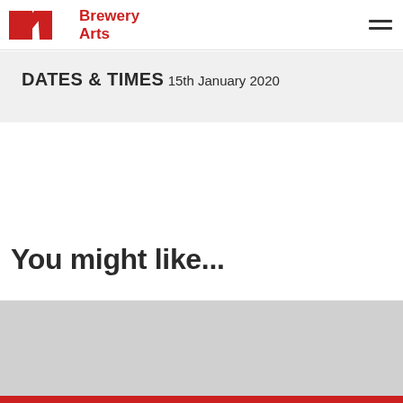Brewery Arts
DATES & TIMES
15th January 2020
You might like...
[Figure (photo): Grey placeholder image area below 'You might like...' heading]